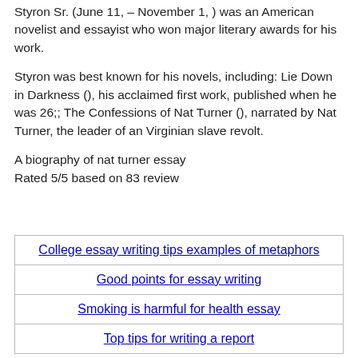Styron Sr. (June 11, – November 1, ) was an American novelist and essayist who won major literary awards for his work.
Styron was best known for his novels, including: Lie Down in Darkness (), his acclaimed first work, published when he was 26;; The Confessions of Nat Turner (), narrated by Nat Turner, the leader of an Virginian slave revolt.
A biography of nat turner essay
Rated 5/5 based on 83 review
| College essay writing tips examples of metaphors |
| Good points for essay writing |
| Smoking is harmful for health essay |
| Top tips for writing a report |